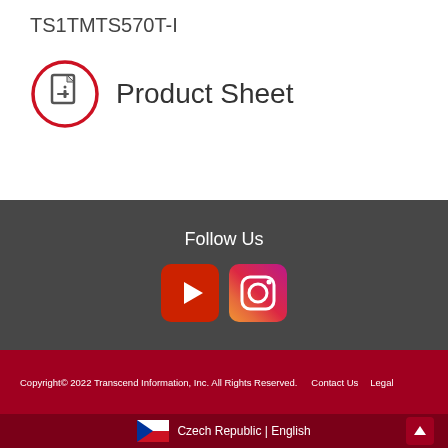TS1TMTS570T-I
[Figure (illustration): Red circle with letter i (info icon) and 'Product Sheet' text label]
Follow Us
[Figure (logo): YouTube and Instagram social media icons]
Copyright© 2022 Transcend Information, Inc. All Rights Reserved.   Contact Us   Legal
Czech Republic | English